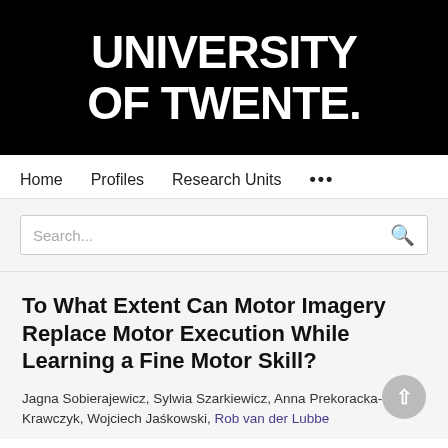[Figure (logo): University of Twente logo - white bold text on black background reading UNIVERSITY OF TWENTE.]
Home   Profiles   Research Units   ...
Search...
To What Extent Can Motor Imagery Replace Motor Execution While Learning a Fine Motor Skill?
Jagna Sobierajewicz, Sylwia Szarkiewicz, Anna Prekoracka-Krawczyk, Wojciech Jaśkowski, Rob van der Lubbe